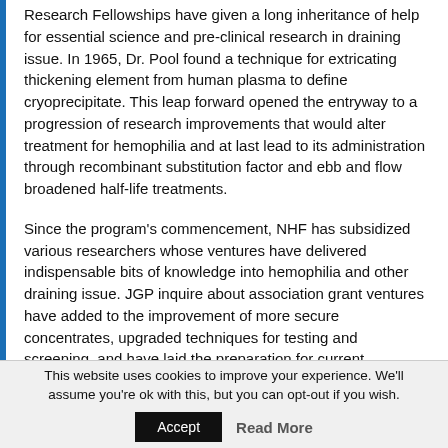Research Fellowships have given a long inheritance of help for essential science and pre-clinical research in draining issue. In 1965, Dr. Pool found a technique for extricating thickening element from human plasma to define cryoprecipitate. This leap forward opened the entryway to a progression of research improvements that would alter treatment for hemophilia and at last lead to its administration through recombinant substitution factor and ebb and flow broadened half-life treatments.
Since the program's commencement, NHF has subsidized various researchers whose ventures have delivered indispensable bits of knowledge into hemophilia and other draining issue. JGP inquire about association grant ventures have added to the improvement of more secure concentrates, upgraded techniques for testing and screening, and have laid the preparation for current advances in quality treatment for hemophilia.
This website uses cookies to improve your experience. We'll assume you're ok with this, but you can opt-out if you wish.